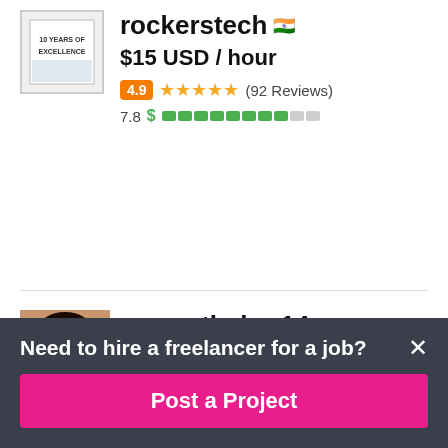rockerstech 🇮🇳
$15 USD / hour
4.9 ★★★★★ (92 Reviews)
7.8 $ ▓▓▓▓▓▓▓▓░░
[Figure (photo): Profile photo of sapnathakur14, a young woman with glasses]
sapnathakur14 🇮🇳
$500 USD / hour
4.9 ★★★★★ (145 Reviews)
7.9 $ ▓▓▓▓▓▓▓▓░░
Need to hire a freelancer for a job?
Post a Project